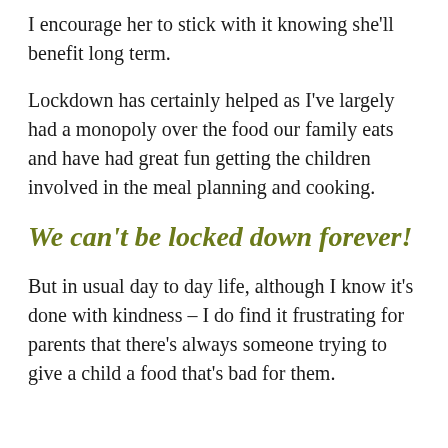I encourage her to stick with it knowing she'll benefit long term.
Lockdown has certainly helped as I've largely had a monopoly over the food our family eats and have had great fun getting the children involved in the meal planning and cooking.
We can't be locked down forever!
But in usual day to day life, although I know it's done with kindness – I do find it frustrating for parents that there's always someone trying to give a child a food that's bad for them.